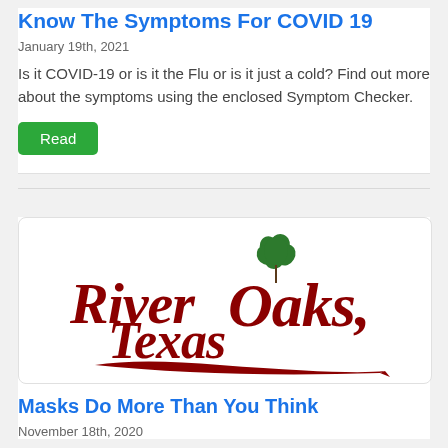Know The Symptoms For COVID 19
January 19th, 2021
Is it COVID-19 or is it the Flu or is it just a cold? Find out more about the symptoms using the enclosed Symptom Checker.
Read
[Figure (logo): River Oaks, Texas logo in cursive red script with a green oak leaf above]
Masks Do More Than You Think
November 18th, 2020